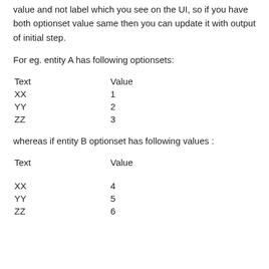value and not label which you see on the UI, so if you have both optionset value same then you can update it with output of initial step.
For eg. entity A has following optionsets:
| Text | Value |
| --- | --- |
| XX | 1 |
| YY | 2 |
| ZZ | 3 |
whereas if entity B optionset has following values :
| Text | Value |
| --- | --- |
| XX | 4 |
| YY | 5 |
| ZZ | 6 |